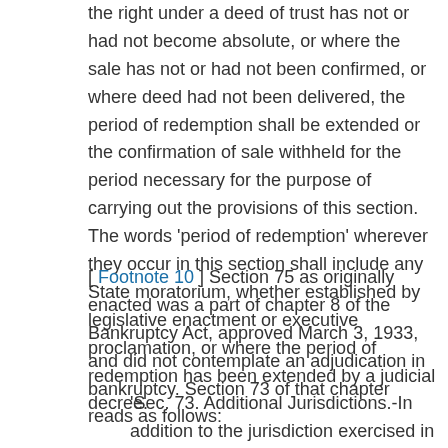the right under a deed of trust has not or had not become absolute, or where the sale has not or had not been confirmed, or where deed had not been delivered, the period of redemption shall be extended or the confirmation of sale withheld for the period necessary for the purpose of carrying out the provisions of this section. The words 'period of redemption' wherever they occur in this section shall include any State moratorium, whether established by legislative enactment or executive proclamation, or where the period of redemption has been extended by a judicial decree.
[ Footnote 10 ] Section 75 as originally enacted was a part of chapter 8 of the Bankruptcy Act, approved March 3, 1933, and did not contemplate an adjudication in bankruptcy. Section 73 of that chapter reads as follows:
'Sec. 73. Additional Jurisdictions.-In addition to the jurisdiction exercised in voluntary and involuntary